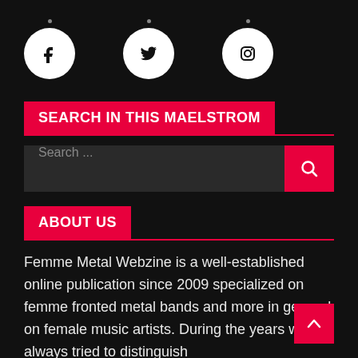[Figure (infographic): Three social media icons (Facebook, Twitter, Instagram) displayed in white on black background, each with a small dot above]
SEARCH IN THIS MAELSTROM
Search ...
ABOUT US
Femme Metal Webzine is a well-established online publication since 2009 specialized on femme fronted metal bands and more in general on female music artists. During the years we always tried to distinguish